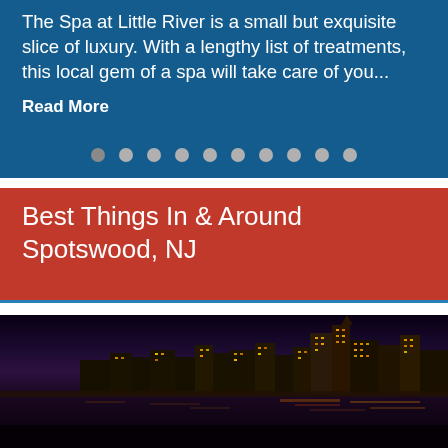The Spa at Little River is a small but exquisite slice of luxury. With a lengthy list of treatments, this local gem of a spa will take care of you...
Read More
Best Things In & Around Spotswood, NJ
[Figure (photo): Nighttime city skyline with colorful lights, showing Atlantic City or similar cityscape with tall buildings illuminated against a dark sky.]